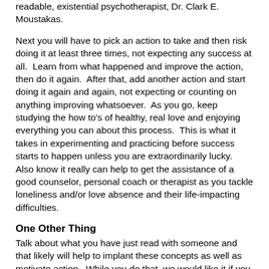readable, existential psychotherapist, Dr. Clark E. Moustakas.
Next you will have to pick an action to take and then risk doing it at least three times, not expecting any success at all.  Learn from what happened and improve the action, then do it again.  After that, add another action and start doing it again and again, not expecting or counting on anything improving whatsoever.  As you go, keep studying the how to's of healthy, real love and enjoying everything you can about this process.  This is what it takes in experimenting and practicing before success starts to happen unless you are extraordinarily lucky.  Also know it really can help to get the assistance of a good counselor, personal coach or therapist as you tackle loneliness and/or love absence and their life-impacting difficulties.
One Other Thing
Talk about what you have just read with someone and that likely will help to implant these concepts as well as motivate action.  While you do that, we would like it if you would mention this site and our free subscription service.  Thank